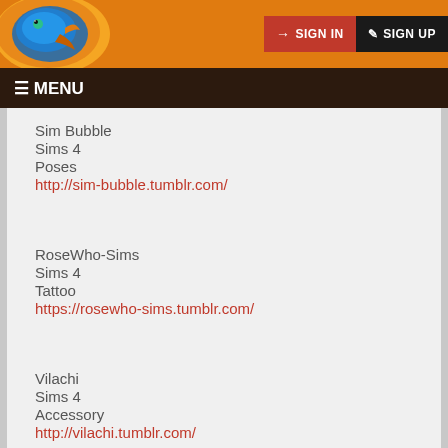[Figure (screenshot): Website header with orange background, fish logo on left, SIGN IN (red) and SIGN UP (dark) buttons on right]
☰ MENU
Sim Bubble
Sims 4
Poses
http://sim-bubble.tumblr.com/
RoseWho-Sims
Sims 4
Tattoo
https://rosewho-sims.tumblr.com/
Vilachi
Sims 4
Accessory
http://vilachi.tumblr.com/